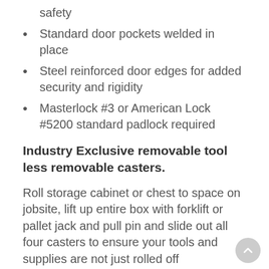safety
Standard door pockets welded in place
Steel reinforced door edges for added security and rigidity
Masterlock #3 or American Lock #5200 standard padlock required
Industry Exclusive removable tool less removable casters.
Roll storage cabinet or chest to space on jobsite, lift up entire box with forklift or pallet jack and pull pin and slide out all four casters to ensure your tools and supplies are not just rolled off